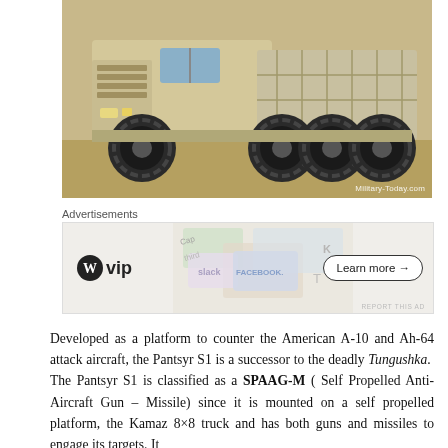[Figure (photo): A large military truck (Kamaz 8x8) in desert tan/beige color, photographed in a field setting. Watermark reads 'Military-Today.com' in bottom right corner.]
Advertisements
[Figure (other): Advertisement banner for WordPress VIP showing the WordPress logo with 'VIP' text, a colorful map background with social media logos (Slack, Facebook), and a 'Learn more →' button on the right. 'REPORT THIS AD' text below.]
Developed as a platform to counter the American A-10 and Ah-64 attack aircraft, the Pantsyr S1 is a successor to the deadly Tungushka. The Pantsyr S1 is classified as a SPAAG-M ( Self Propelled Anti-Aircraft Gun – Missile) since it is mounted on a self propelled platform, the Kamaz 8×8 truck and has both guns and missiles to engage its targets. It